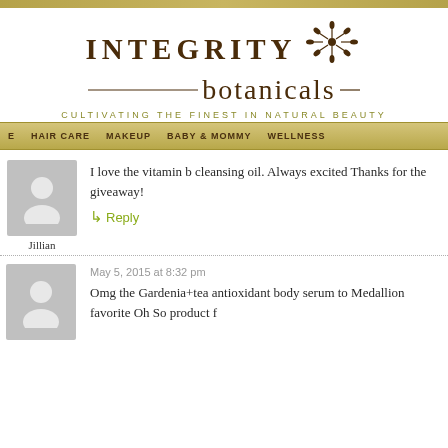[Figure (logo): Integrity Botanicals logo with flower illustration and script text, tagline below]
HAIR CARE   MAKEUP   BABY & MOMMY   WELLNESS
[Figure (illustration): User avatar placeholder silhouette]
I love the vitamin b cleansing oil. Always excited Thanks for the giveaway!
↳ Reply
Jillian
May 5, 2015 at 8:32 pm
[Figure (illustration): User avatar placeholder silhouette]
Omg the Gardenia+tea antioxidant body serum to Medallion favorite Oh So product f